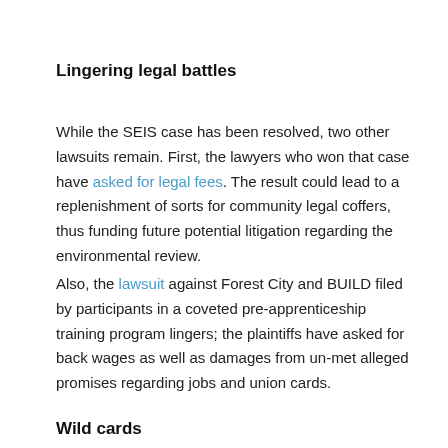Lingering legal battles
While the SEIS case has been resolved, two other lawsuits remain. First, the lawyers who won that case have asked for legal fees. The result could lead to a replenishment of sorts for community legal coffers, thus funding future potential litigation regarding the environmental review.
Also, the lawsuit against Forest City and BUILD filed by participants in a coveted pre-apprenticeship training program lingers; the plaintiffs have asked for back wages as well as damages from un-met alleged promises regarding jobs and union cards.
Wild cards